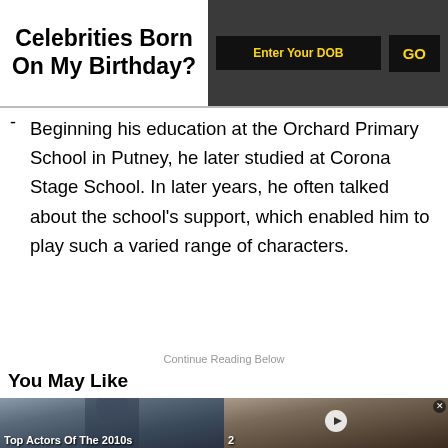Celebrities Born On My Birthday?
Beginning his education at the Orchard Primary School in Putney, he later studied at Corona Stage School. In later years, he often talked about the school's support, which enabled him to play such a varied range of characters.
Continue Reading Below
You May Like
[Figure (photo): Celebrity man in dark jacket, film still]
Top Actors Of The 2010s
[Figure (photo): Group of women celebrities, one with sunglasses, video thumbnail with play button]